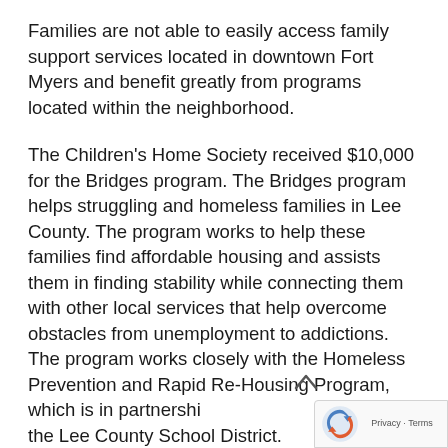Families are not able to easily access family support services located in downtown Fort Myers and benefit greatly from programs located within the neighborhood.
The Children's Home Society received $10,000 for the Bridges program. The Bridges program helps struggling and homeless families in Lee County. The program works to help these families find affordable housing and assists them in finding stability while connecting them with other local services that help overcome obstacles from unemployment to addictions. The program works closely with the Homeless Prevention and Rapid Re-Housing Program, which is in partnership with the Lee County School District.
According to Haas, in addition to golf, participants